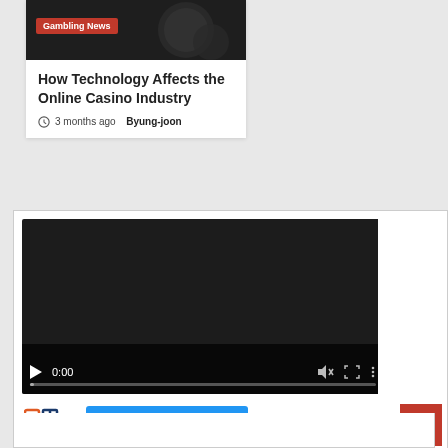[Figure (photo): Dark background with gambling chips image, 'Gambling News' red badge overlay]
How Technology Affects the Online Casino Industry
3 months ago  Byung-joon
[Figure (screenshot): Embedded video player (dark background) showing time 0:00, play button, mute icon, fullscreen icon, and options icon, with progress bar. Below the video is a QPP logo and a blue 'GET MORE DETAILS' button.]